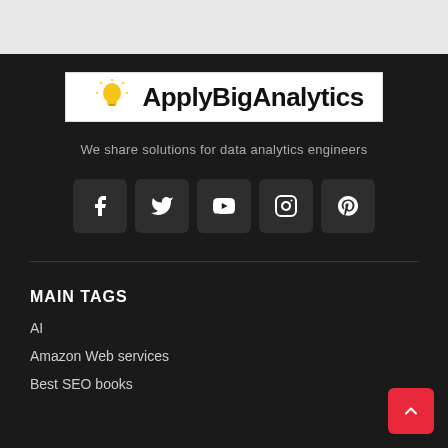[Figure (logo): ApplyBigAnalytics logo with lightbulb icon on white background]
We share solutions for data analytics engineers
[Figure (infographic): Row of five social media icon buttons: Facebook, Twitter, YouTube, Instagram, Pinterest on dark rounded square backgrounds]
MAIN TAGS
AI
Amazon Web services
Best SEO books